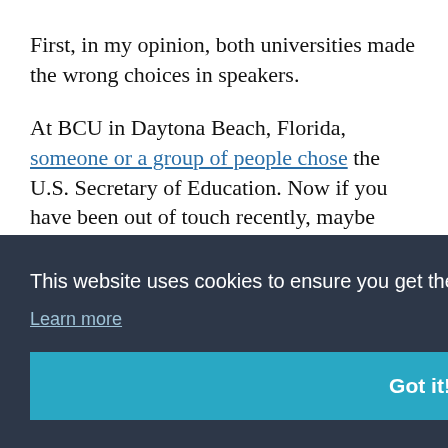First, in my opinion, both universities made the wrong choices in speakers.
At BCU in Daytona Beach, Florida, someone or a group of people chose the U.S. Secretary of Education. Now if you have been out of touch recently, maybe stranded on an island without the internet, you are probably thinking that
This website uses cookies to ensure you get the best experience on our website.
Learn more
Got it!